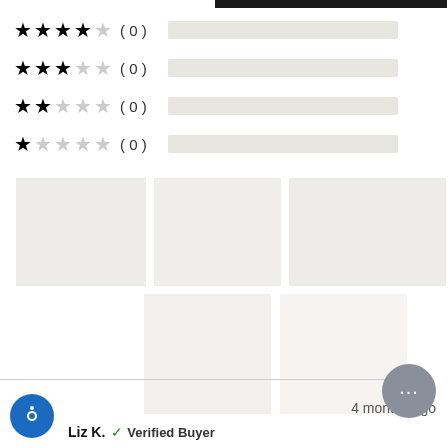[Figure (infographic): Star rating breakdown showing 4-star (0), 3-star (0), 2-star (0), 1-star (0) rows with empty progress bars, and a filled bar at top (5-star). Below is a 3x2 image grid of placeholder/loading images.]
Liz K.  ✓ Verified Buyer
4 months ago